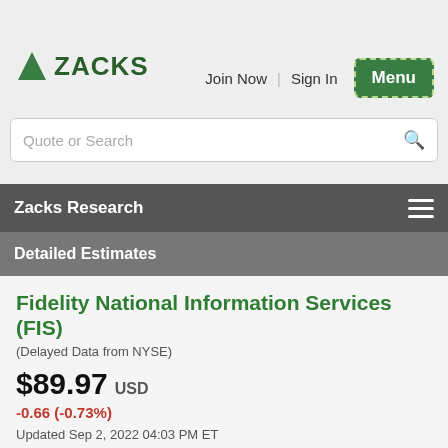[Figure (screenshot): Zacks website navigation bar with logo, Join Now, Sign In links, and Menu button]
Quote or Search
Zacks Research
Detailed Estimates
Fidelity National Information Services (FIS)
(Delayed Data from NYSE)
$89.97 USD
-0.66 (-0.73%)
Updated Sep 2, 2022 04:03 PM ET